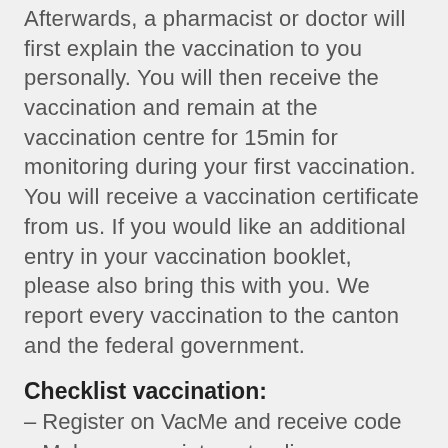Afterwards, a pharmacist or doctor will first explain the vaccination to you personally. You will then receive the vaccination and remain at the vaccination centre for 15min for monitoring during your first vaccination. You will receive a vaccination certificate from us. If you would like an additional entry in your vaccination booklet, please also bring this with you. We report every vaccination to the canton and the federal government.
Checklist vaccination:
– Register on VacMe and receive code
– Make an appointment online on onedoc
– Fill in the registration form and send it to us